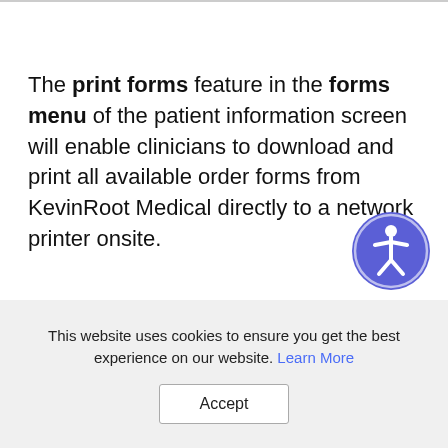The print forms feature in the forms menu of the patient information screen will enable clinicians to download and print all available order forms from KevinRoot Medical directly to a network printer onsite.
[Figure (illustration): Accessibility icon — circular purple button with a white human figure (universal accessibility symbol)]
This website uses cookies to ensure you get the best experience on our website. Learn More
Accept